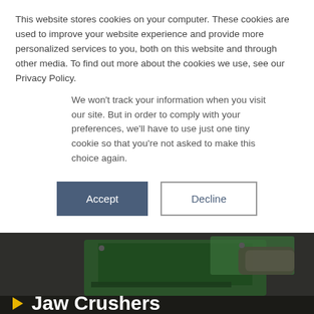This website stores cookies on your computer. These cookies are used to improve your website experience and provide more personalized services to you, both on this website and through other media. To find out more about the cookies we use, see our Privacy Policy.
We won't track your information when you visit our site. But in order to comply with your preferences, we'll have to use just one tiny cookie so that you're not asked to make this choice again.
Accept | Decline
[Figure (photo): Photograph of a jaw crusher machine (green heavy equipment) on a gravel surface, with dark overlay. Title 'Jaw Crushers' with yellow arrow icon overlaid.]
Jaw Crushers
← View Models
J45/J45R Jaw Crusher
The J45 and J45R high capacity jaw crushers feature a true...